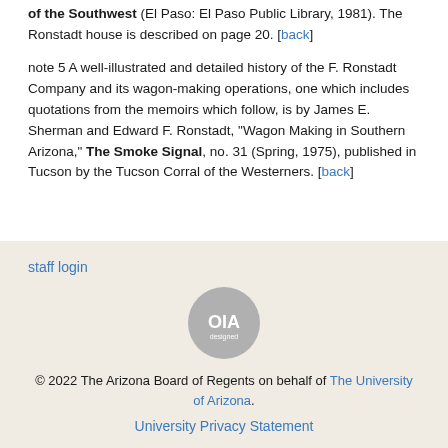of the Southwest (El Paso: El Paso Public Library, 1981). The Ronstadt house is described on page 20. [back]
note 5 A well-illustrated and detailed history of the F. Ronstadt Company and its wagon-making operations, one which includes quotations from the memoirs which follow, is by James E. Sherman and Edward F. Ronstadt, "Wagon Making in Southern Arizona," The Smoke Signal, no. 31 (Spring, 1975), published in Tucson by the Tucson Corral of the Westerners. [back]
staff login
© 2022 The Arizona Board of Regents on behalf of The University of Arizona.
University Privacy Statement